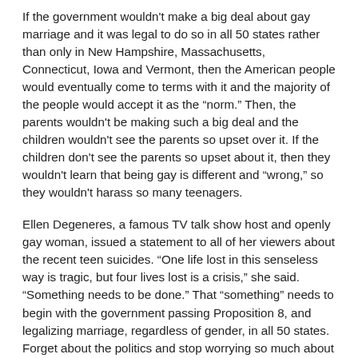If the government wouldn't make a big deal about gay marriage and it was legal to do so in all 50 states rather than only in New Hampshire, Massachusetts, Connecticut, Iowa and Vermont, then the American people would eventually come to terms with it and the majority of the people would accept it as the "norm." Then, the parents wouldn't be making such a big deal and the children wouldn't see the parents so upset over it. If the children don't see the parents so upset about it, then they wouldn't learn that being gay is different and "wrong," so they wouldn't harass so many teenagers.
Ellen Degeneres, a famous TV talk show host and openly gay woman, issued a statement to all of her viewers about the recent teen suicides. "One life lost in this senseless way is tragic, but four lives lost is a crisis," she said. "Something needs to be done." That "something" needs to begin with the government passing Proposition 8, and legalizing marriage, regardless of gender, in all 50 states. Forget about the politics and stop worrying so much about whether or not you'll receive a lot of votes. Do what's best for this country; what's best for the teens who are supposed to grow up and make a difference in this country. If you don't, you won't know whose life you're